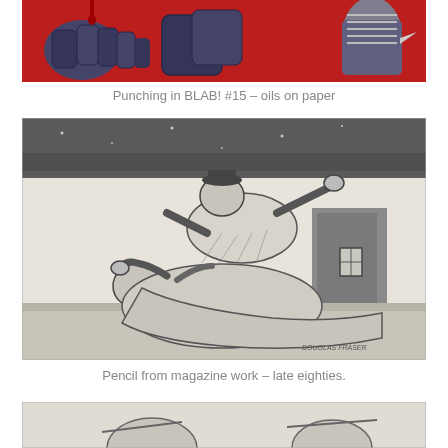[Figure (illustration): Colorful painting of abstract fists/punching figures in dark purple-blue tones on a red background, published in BLAB! #15, oils on paper]
Punching in BLAB! #15 – oils on paper
[Figure (illustration): Black and white pencil drawing of two figures wrestling or fighting outdoors at night, signed 'DOUGLAS FRASER', from magazine work in the late eighties]
Pencil from magazine work – late eighties.
[Figure (illustration): Partial view of another black and white illustration at the bottom of the page]